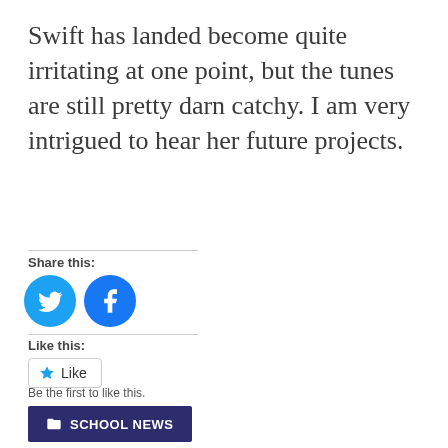Swift has landed become quite irritating at one point, but the tunes are still pretty darn catchy. I am very intrigued to hear her future projects.
Share this:
[Figure (illustration): Twitter and Facebook circular share buttons in blue]
Like this:
Like
Be the first to like this.
SCHOOL NEWS